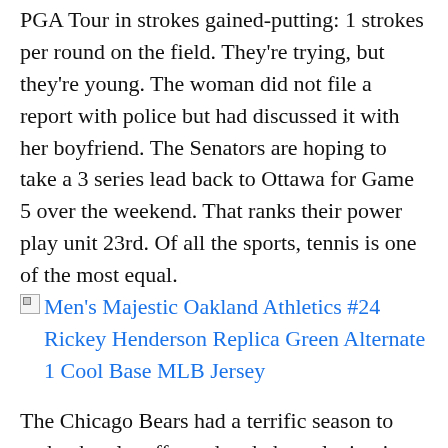PGA Tour in strokes gained-putting: 1 strokes per round on the field. They're trying, but they're young. The woman did not file a report with police but had discussed it with her boyfriend. The Senators are hoping to take a 3 series lead back to Ottawa for Game 5 over the weekend. That ranks their power play unit 23rd. Of all the sports, tennis is one of the most equal.
[Figure (other): Broken image link for Men's Majestic Oakland Athletics #24 Rickey Henderson Replica Green Alternate 1 Cool Base MLB Jersey]
The Chicago Bears had a terrific season to make the playoffs, and ended up playing in easily the most dramatic Wild Card game of the